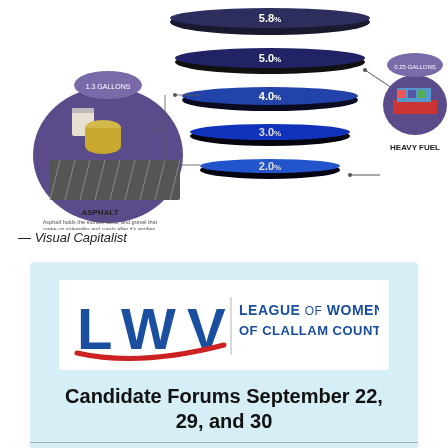[Figure (infographic): Infographic showing petroleum barrel breakdown with stacked horizontal ellipses labeled 5.8%, 5.0%, 4.0%, 3.0%, 2.0% indicating usage percentages, with asphalt products on left and a cargo ship labeled Heavy Fuel on right, annotated with gallons quantities.]
— Visual Capitalist
[Figure (logo): League of Women Voters of Clallam County logo with LWV letters in blue and red swoosh, text LEAGUE OF WOMEN VOTERS OF CLALLAM COUNTY]
Candidate Forums September 22, 29, and 30